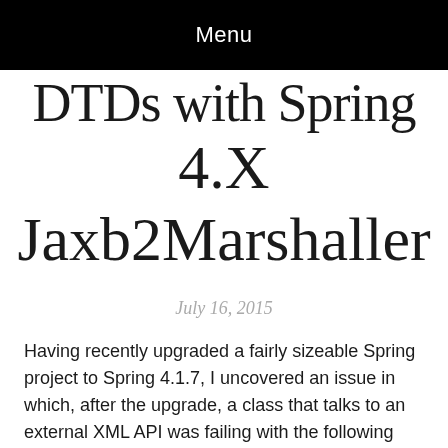Menu
DTDs with Spring 4.X Jaxb2Marshaller
July 16, 2015
Having recently upgraded a fairly sizeable Spring project to Spring 4.1.7, I uncovered an issue in which, after the upgrade, a class that talks to an external XML API was failing with the following stack trace: